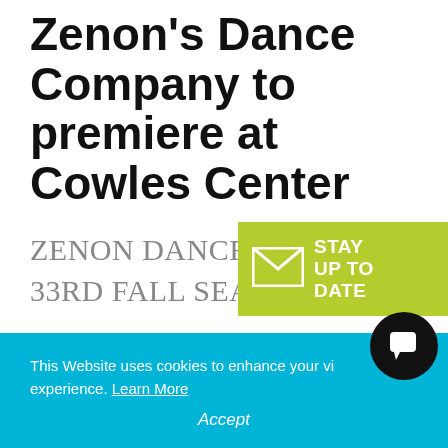Zenon's Dance Company to premiere at Cowles Center
ZENON DANCE COMPANY 33RD FALL SEASON AND INTERNATIONAL COLLABORATIONS NOVEMBER 13-22, 2015 THE
[Figure (infographic): Green badge with envelope icon and text STAY UP TO DATE]
This Website uses cookies to enhance your viewing experience. Learn More
Accept